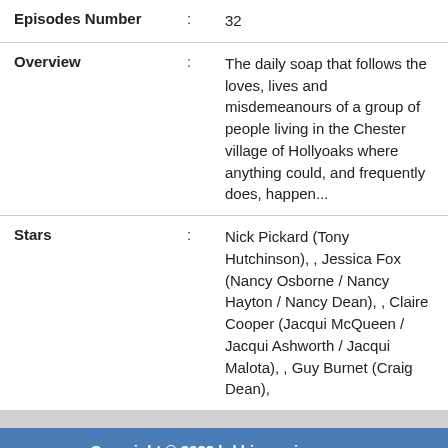| Episodes Number | : | 32 |
| Overview | : | The daily soap that follows the loves, lives and misdemeanours of a group of people living in the Chester village of Hollyoaks where anything could, and frequently does, happen... |
| Stars | : | Nick Pickard (Tony Hutchinson), , Jessica Fox (Nancy Osborne / Nancy Hayton / Nancy Dean), , Claire Cooper (Jacqui McQueen / Jacqui Ashworth / Jacqui Malota), , Guy Burnet (Craig Dean), |
Copyright © 2022 hd.bigmoviesz.com
About US
Contact Us
DMCA
Privacy Police